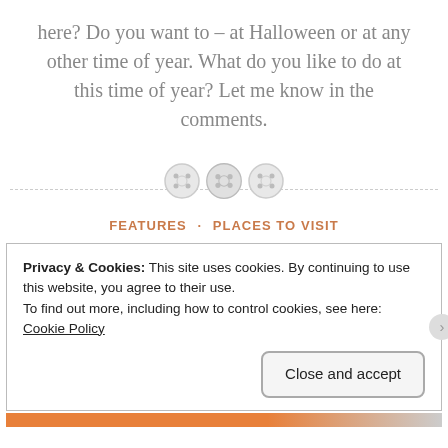here? Do you want to – at Halloween or at any other time of year. What do you like to do at this time of year? Let me know in the comments.
[Figure (illustration): Three decorative button/circle icons centered on a dashed horizontal divider line]
FEATURES · PLACES TO VISIT
Privacy & Cookies: This site uses cookies. By continuing to use this website, you agree to their use.
To find out more, including how to control cookies, see here: Cookie Policy
Close and accept